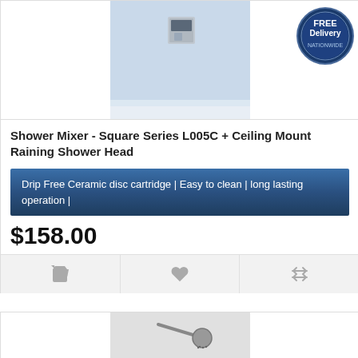[Figure (photo): Shower mixer product photo showing a square wall-mounted shower controller with ceiling rain shower head against a light blue wall background. A 'FREE Delivery NATIONWIDE' badge is visible in the top right corner.]
Shower Mixer - Square Series L005C + Ceiling Mount Raining Shower Head
Drip Free Ceramic disc cartridge | Easy to clean | long lasting operation |
$158.00
[Figure (photo): Second product photo showing a chrome shower arm with a round shower head against a light background.]